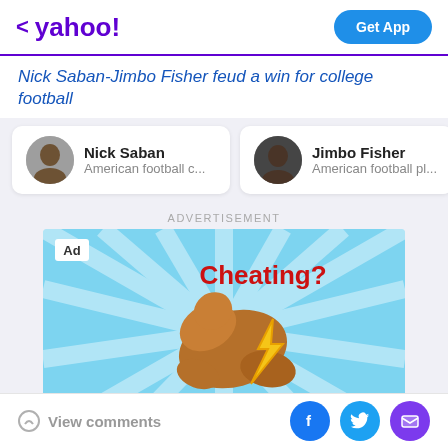< yahoo! Get App
Nick Saban-Jimbo Fisher feud a win for college football
Nick Saban American football c...
Jimbo Fisher American football pl...
Ar... Am...
ADVERTISEMENT
[Figure (photo): Advertisement banner for BitLife game showing a flexing arm emoji with lightning bolt, text: Cheating? Or creative winning? BitLife Now with pro sports]
View comments
Social share icons: Facebook, Twitter, Email